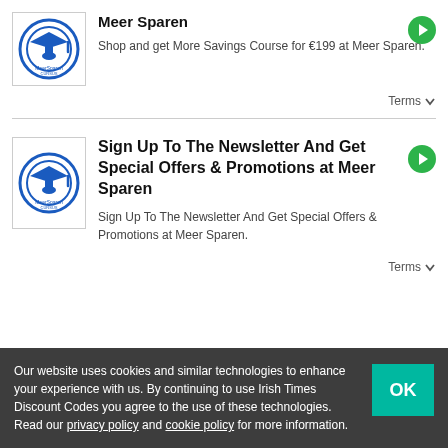[Figure (logo): MeerSparen Cursus logo - graduation cap icon in blue circle]
Meer Sparen
Shop and get More Savings Course for €199 at Meer Sparen.
Terms ∨
[Figure (logo): MeerSparen Cursus logo - graduation cap icon in blue circle]
Sign Up To The Newsletter And Get Special Offers & Promotions at Meer Sparen
Sign Up To The Newsletter And Get Special Offers & Promotions at Meer Sparen.
Terms ∨
Our website uses cookies and similar technologies to enhance your experience with us. By continuing to use Irish Times Discount Codes you agree to the use of these technologies. Read our privacy policy and cookie policy for more information.